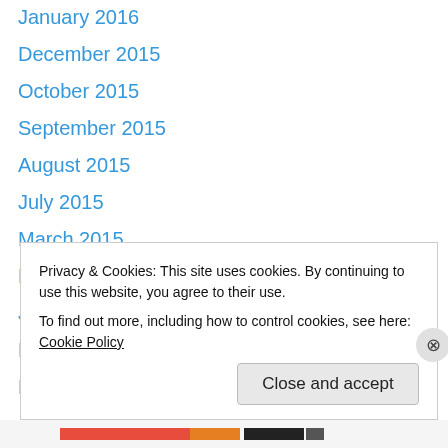January 2016
December 2015
October 2015
September 2015
August 2015
July 2015
March 2015
February 2015
January 2015
December 2014
November 2014
October 2014
September 2014
August 2014
Privacy & Cookies: This site uses cookies. By continuing to use this website, you agree to their use.
To find out more, including how to control cookies, see here: Cookie Policy